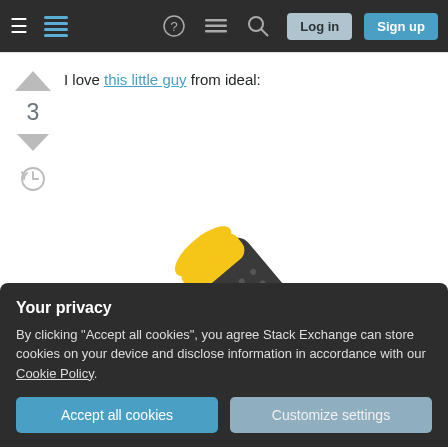Stack Exchange navigation bar with Log in and Sign up buttons
I love this little guy from ideal:
[Figure (photo): A yellow and dark gray cable stripping tool (Ideal brand) shown diagonally against a white background]
Your privacy
By clicking "Accept all cookies", you agree Stack Exchange can store cookies on your device and disclose information in accordance with our Cookie Policy.
damaging the conductors. the V groove at the end is